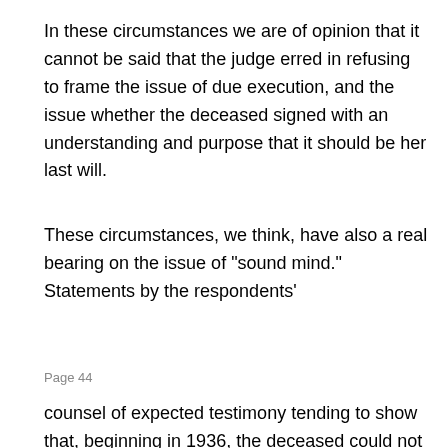In these circumstances we are of opinion that it cannot be said that the judge erred in refusing to frame the issue of due execution, and the issue whether the deceased signed with an understanding and purpose that it should be her last will.
These circumstances, we think, have also a real bearing on the issue of "sound mind." Statements by the respondents'
Page 44
counsel of expected testimony tending to show that, beginning in 1936, the deceased could not concentrate and follow card games as she had been able to in the past, that she became forgetful, that her mind was not functioning as it had been accustomed to, that she